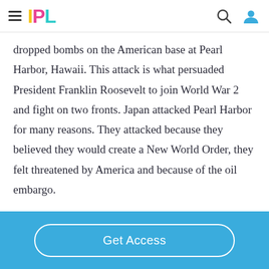IPL
dropped bombs on the American base at Pearl Harbor, Hawaii. This attack is what persuaded President Franklin Roosevelt to join World War 2 and fight on two fronts. Japan attacked Pearl Harbor for many reasons. They attacked because they believed they would create a New World Order, they felt threatened by America and because of the oil embargo.
Get Access